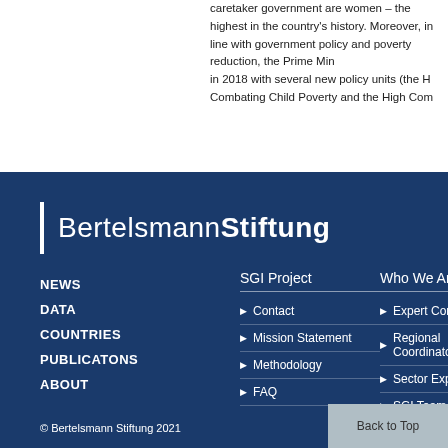caretaker government are women – the highest in the country's history. Moreover, in line with government policy and poverty reduction, the Prime Minister in 2018 with several new policy units (the H Combating Child Poverty and the High Com
[Figure (logo): Bertelsmann Stiftung logo with vertical white bar and text on dark blue background]
NEWS
DATA
COUNTRIES
PUBLICATONS
ABOUT
SGI Project
Contact
Mission Statement
Methodology
FAQ
Who We Are
Expert Community
Regional Coordinators
Sector Experts
SGI Team
SGI Advisory Board
© Bertelsmann Stiftung 2021
Back to Top